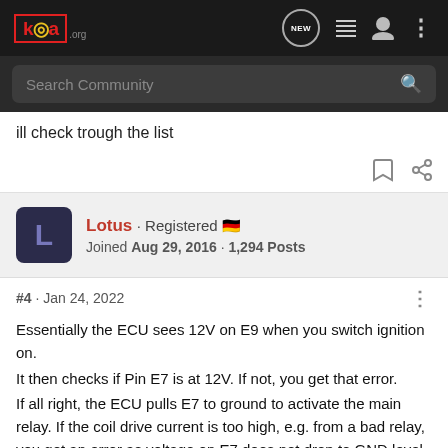KOA.org forum navigation bar with logo, NEW chat icon, list icon, person icon, dots menu
Search Community
ill check trough the list
Lotus · Registered 🇩🇪
Joined Aug 29, 2016 · 1,294 Posts
#4 · Jan 24, 2022
Essentially the ECU sees 12V on E9 when you switch ignition on.
It then checks if Pin E7 is at 12V. If not, you get that error.
If all right, the ECU pulls E7 to ground to activate the main relay. If the coil drive current is too high, e.g. from a bad relay, you get an error as voltage on E7 does not drop to GND level.